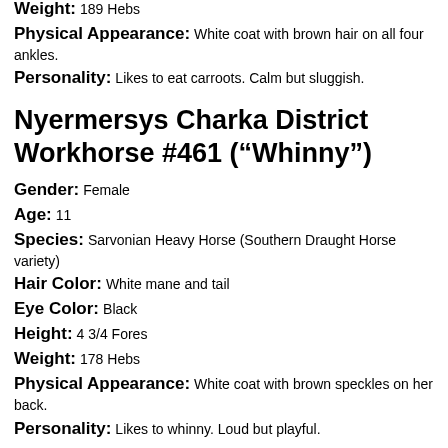Eye Color: Black
Height: 4 1/2 Fores
Weight: 189 Hebs
Physical Appearance: White coat with brown hair on all four ankles.
Personality: Likes to eat carroots. Calm but sluggish.
Nyermersys Charka District Workhorse #461 (“Whinny”)
Gender: Female
Age: 11
Species: Sarvonian Heavy Horse (Southern Draught Horse variety)
Hair Color: White mane and tail
Eye Color: Black
Height: 4 3/4 Fores
Weight: 178 Hebs
Physical Appearance: White coat with brown speckles on her back.
Personality: Likes to whinny. Loud but playful.